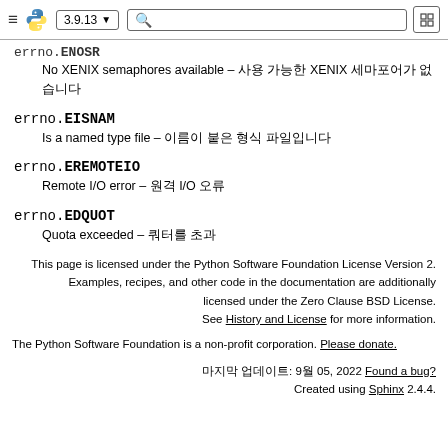3.9.13 [navigation bar with Python logo, search, version selector]
errno.ENOSR [truncated]
No XENIX semaphores available – 사용 가능한 XENIX 세마포어가 없습니다
errno.EISNAM
Is a named type file – 이름이 붙은 형식 파일입니다
errno.EREMOTEIO
Remote I/O error – 원격 I/O 오류
errno.EDQUOT
Quota exceeded – 쿼터를 초과
This page is licensed under the Python Software Foundation License Version 2. Examples, recipes, and other code in the documentation are additionally licensed under the Zero Clause BSD License. See History and License for more information.
The Python Software Foundation is a non-profit corporation. Please donate.
마지막 업데이트: 9월 05, 2022 Found a bug?
Created using Sphinx 2.4.4.